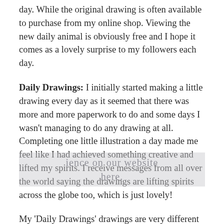day. While the original drawing is often available to purchase from my online shop. Viewing the new daily animal is obviously free and I hope it comes as a lovely surprise to my followers each day.
Daily Drawings: I initially started making a little drawing every day as it seemed that there was more and more paperwork to do and some days I wasn't managing to do any drawing at all. Completing one little illustration a day made me feel like I had achieved something creative and lifted my spirits. I receive messages from all over the world saying the drawings are lifting spirits across the globe too, which is just lovely!
My 'Daily Drawings' drawings are very different to the paintings I exhibit in my exhibitions in galleries. If you are looking for a larger piece please have a look